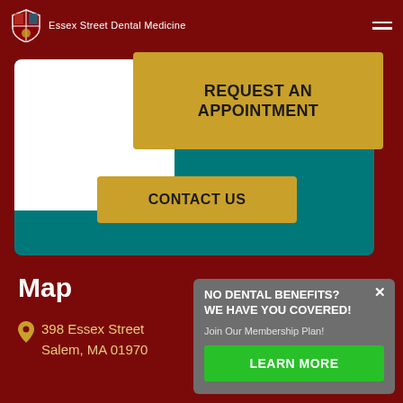Essex Street Dental Medicine
REQUEST AN APPOINTMENT
CONTACT US
Map
398 Essex Street Salem, MA 01970
NO DENTAL BENEFITS? WE HAVE YOU COVERED! Join Our Membership Plan!
LEARN MORE